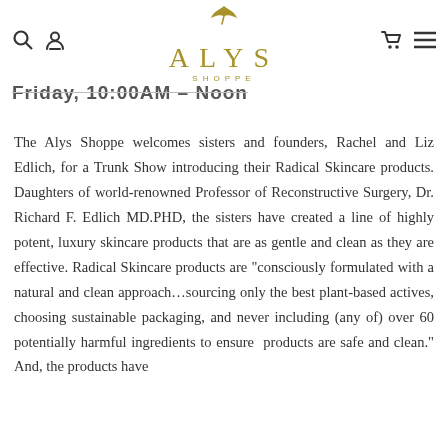[Figure (logo): Alys Shoppe logo with golden bird/leaf mark above stylized text 'ALYS SHOPPE']
Friday, 10:00AM – Noon
The Alys Shoppe welcomes sisters and founders, Rachel and Liz Edlich, for a Trunk Show introducing their Radical Skincare products. Daughters of world-renowned Professor of Reconstructive Surgery, Dr. Richard F. Edlich MD.PHD, the sisters have created a line of highly potent, luxury skincare products that are as gentle and clean as they are effective. Radical Skincare products are "consciously formulated with a natural and clean approach…sourcing only the best plant-based actives, choosing sustainable packaging, and never including (any of) over 60 potentially harmful ingredients to ensure products are safe and clean." And, the products have